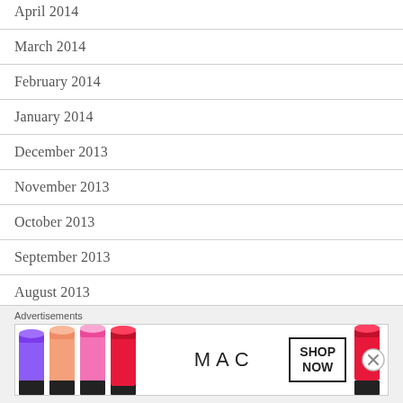April 2014
March 2014
February 2014
January 2014
December 2013
November 2013
October 2013
September 2013
August 2013
July 2013
June 2013
Advertisements
[Figure (other): MAC cosmetics advertisement banner with lipsticks in purple, peach, pink, and red colors with MAC logo and SHOP NOW button]